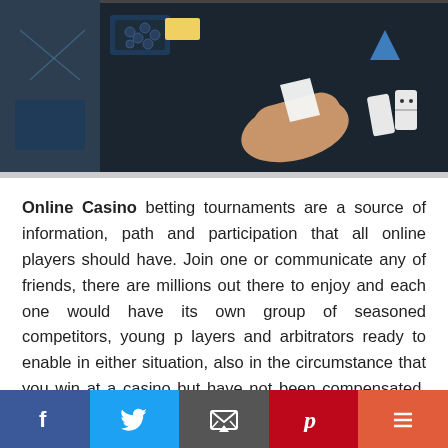[Figure (photo): Photo of hands on a dark gaming/casino board with playing pieces, cards, and triangular blue tokens on a dark surface]
Online Casino betting tournaments are a source of information, path and participation that all online players should have. Join one or communicate any of friends, there are millions out there to enjoy and each one would have its own group of seasoned competitors, young p layers and arbitrators ready to enable in either situation, also in the circumstance that you win at a casino but have not been compensated, an online media betting assembly and its commenters are some of the best and most associated person players. It's an invaluable group
[Figure (infographic): Social sharing bar at bottom with Facebook, Twitter, Email, Pinterest, and More buttons]